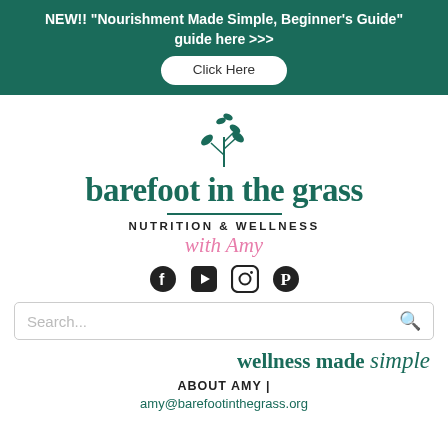NEW!! "Nourishment Made Simple, Beginner's Guide" guide here >>> Click Here
[Figure (logo): Barefoot in the Grass Nutrition & Wellness with Amy logo — leaf illustration above brand name in dark teal serif font, with social media icons]
Search...
wellness made simple
ABOUT AMY |
amy@barefootinthegrass.org